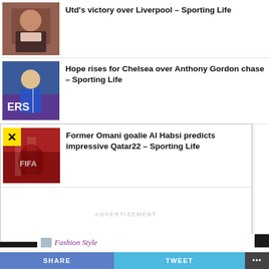[Figure (photo): Person in dark jacket, sports background]
Utd's victory over Liverpool – Sporting Life
[Figure (photo): Football player in blue kit]
Hope rises for Chelsea over Anthony Gordon chase – Sporting Life
[Figure (photo): Football/sports ceremony crowd photo with close button X overlay]
Former Omani goalie Al Habsi predicts impressive Qatar22 – Sporting Life
ADVERTISEMENT
Fashion Style
SHARE
TWEET
•••